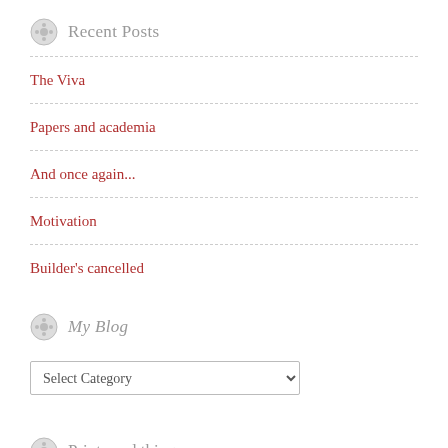Recent Posts
The Viva
Papers and academia
And once again...
Motivation
Builder's cancelled
My Blog
Select Category
Prints and things